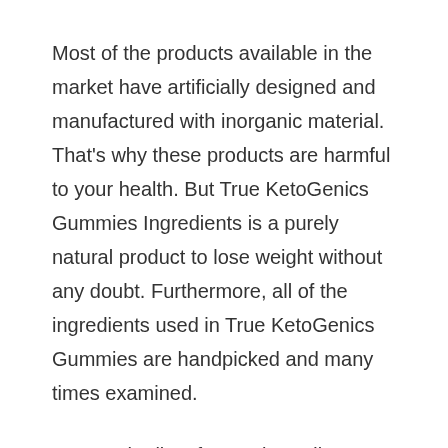Most of the products available in the market have artificially designed and manufactured with inorganic material. That’s why these products are harmful to your health. But True KetoGenics Gummies Ingredients is a purely natural product to lose weight without any doubt. Furthermore, all of the ingredients used in True KetoGenics Gummies are handpicked and many times examined.
Here Is the list of some ingredients used in the production of True KetoGenics Gummies.
Apple juice vinegar
Coconut oil